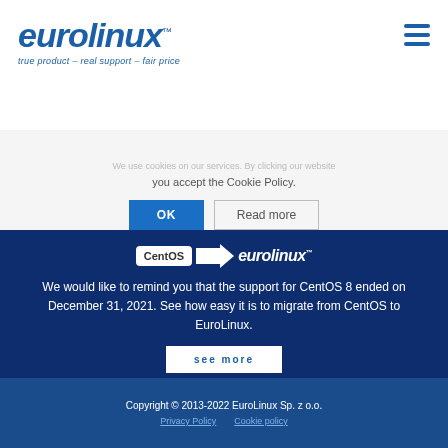[Figure (logo): EuroLinux logo with tagline 'true product – real support – fair price']
you accept the Cookie Policy.
OK
Read more
[Figure (logo): CentOS arrow pointing to EuroLinux logo]
We would like to remind you that the support for CentOS 8 ended on December 31, 2021. See how easy it is to migrate from CentOS to EuroLinux.
see more
Copyright © 2013-2022 EuroLinux Sp. z o.o.
Privacy Policy   Cookie policy